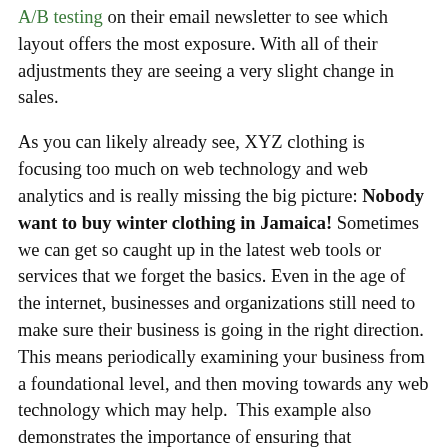A/B testing on their email newsletter to see which layout offers the most exposure. With all of their adjustments they are seeing a very slight change in sales.
As you can likely already see, XYZ clothing is focusing too much on web technology and web analytics and is really missing the big picture: Nobody want to buy winter clothing in Jamaica! Sometimes we can get so caught up in the latest web tools or services that we forget the basics. Even in the age of the internet, businesses and organizations still need to make sure their business is going in the right direction. This means periodically examining your business from a foundational level, and then moving towards any web technology which may help.  This example also demonstrates the importance of ensuring that traditional marketing efforts are not being ignored. The example discussed is extreme, but some businesses and organizations may be in a similar